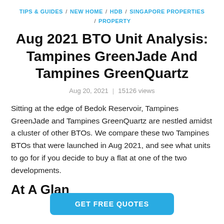TIPS & GUIDES / NEW HOME / HDB / SINGAPORE PROPERTIES / PROPERTY
Aug 2021 BTO Unit Analysis: Tampines GreenJade And Tampines GreenQuartz
Aug 20, 2021  |  15126 views
Sitting at the edge of Bedok Reservoir, Tampines GreenJade and Tampines GreenQuartz are nestled amidst a cluster of other BTOs. We compare these two Tampines BTOs that were launched in Aug 2021, and see what units to go for if you decide to buy a flat at one of the two developments.
At A Glan…
GET FREE QUOTES